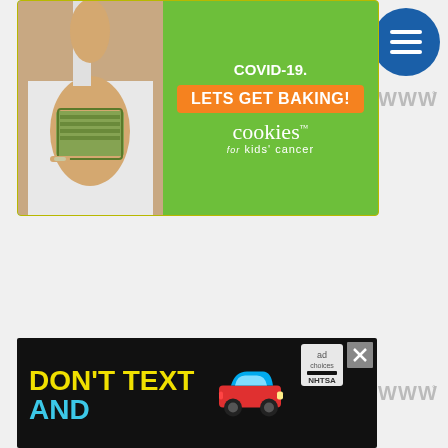[Figure (screenshot): Cookies for Kids Cancer advertisement on green background: text 'COVID-19. LETS GET BAKING!' with cookies for kids cancer logo, person holding money on left side]
[Figure (logo): Circular dark blue menu/hamburger button icon in top right]
[Figure (logo): Waldo logo (www symbol with degree mark) in light gray, top right]
[Figure (screenshot): NHTSA 'DON'T TEXT AND DRIVE' advertisement with yellow and cyan text on black background, red car graphic, ad badge, and close button]
[Figure (logo): Waldo logo (www symbol with degree mark) in light gray, bottom right]